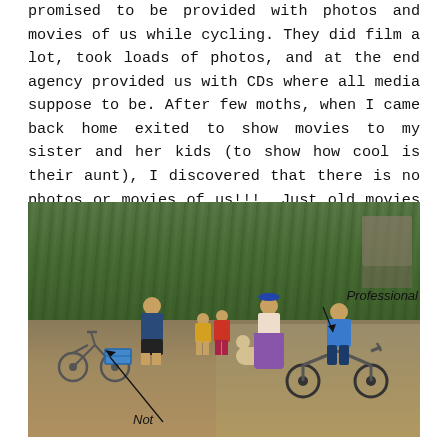promised to be provided with photos and movies of us while cycling. They did film a lot, took loads of photos, and at the end agency provided us with CDs where all media suppose to be. After few moths, when I came back home exited to show movies to my sister and her kids (to show how cool is their aunt), I discovered that there is no photos or movies of us!!!  Just old movies to promote agency. I was extremely disappointed and angry, I have only few photos from my phone.
[Figure (photo): Outdoor photo on a dirt road/path. A person in a blue t-shirt stands on the left near bicycles. Two children stand in the center, along with a woman in traditional skirt. A dog is visible in the center. On the right, a man in blue rides a motorcycle. Dense green trees/vegetation in the background. Labels annotate 'Not' pointing to left person/bicycles and 'Professional' pointing to the motorcycle rider.]